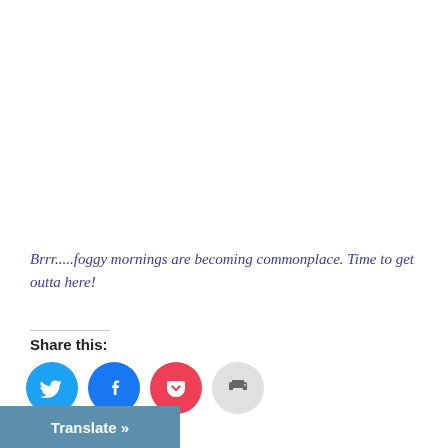Brrr.....foggy mornings are becoming commonplace. Time to get outta here!
Share this:
[Figure (other): Social sharing icons: Twitter (blue circle), Facebook (blue circle), Pocket (red circle), Print (grey circle)]
Translate »